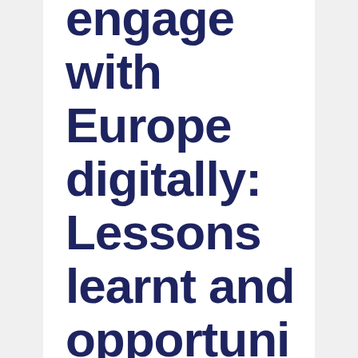engage with Europe digitally: Lessons learnt and opportunities to seize